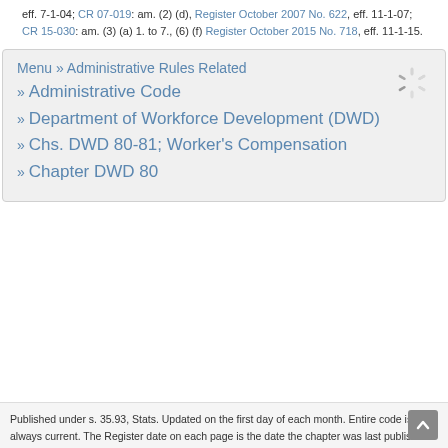eff. 7-1-04; CR 07-019: am. (2) (d), Register October 2007 No. 622, eff. 11-1-07; CR 15-030: am. (3) (a) 1. to 7., (6) (f) Register October 2015 No. 718, eff. 11-1-15.
Menu » Administrative Rules Related
» Administrative Code
» Department of Workforce Development (DWD)
» Chs. DWD 80-81; Worker's Compensation
» Chapter DWD 80
Published under s. 35.93, Stats. Updated on the first day of each month. Entire code is always current. The Register date on each page is the date the chapter was last publis…